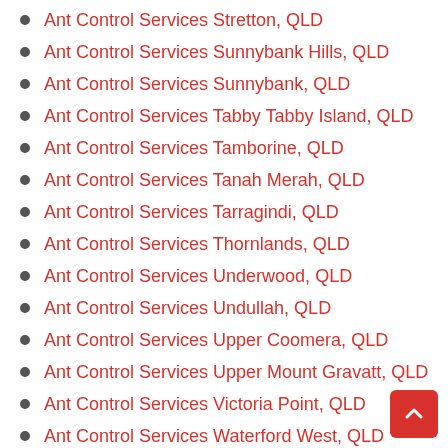Ant Control Services Stretton, QLD
Ant Control Services Sunnybank Hills, QLD
Ant Control Services Sunnybank, QLD
Ant Control Services Tabby Tabby Island, QLD
Ant Control Services Tamborine, QLD
Ant Control Services Tanah Merah, QLD
Ant Control Services Tarragindi, QLD
Ant Control Services Thornlands, QLD
Ant Control Services Underwood, QLD
Ant Control Services Undullah, QLD
Ant Control Services Upper Coomera, QLD
Ant Control Services Upper Mount Gravatt, QLD
Ant Control Services Victoria Point, QLD
Ant Control Services Waterford West, QLD
Ant Control Services Wellers Hill, QLD